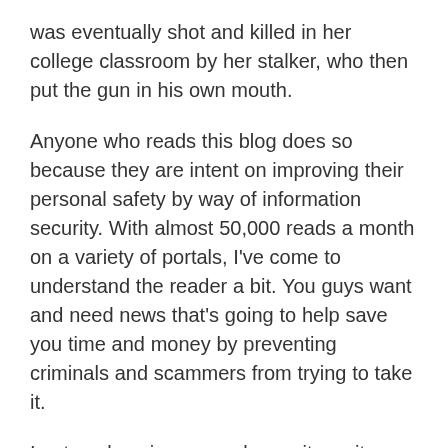was eventually shot and killed in her college classroom by her stalker, who then put the gun in his own mouth.
Anyone who reads this blog does so because they are intent on improving their personal safety by way of information security. With almost 50,000 reads a month on a variety of portals, I've come to understand the reader a bit. You guys want and need news that's going to help save you time and money by preventing criminals and scammers from trying to take it.
I got my legs in personal security as it pertains to violence prevention. I started doing this in 1992, teaching self defense. My background as a scrawny, greasy Italian kid growing up in the Boston area, fighting my way though life and